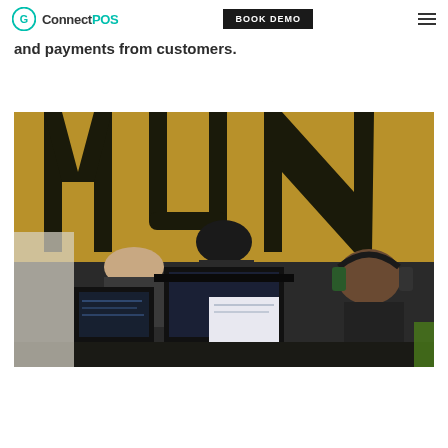ConnectPOS | BOOK DEMO
and payments from customers.
[Figure (photo): Office/studio scene with several people working at computer workstations with multiple monitors. A large golden-yellow wall with large dark block letters (MUN) is visible in the background. One person standing is leaning over equipment, others are seated. One person on the right wears headphones.]